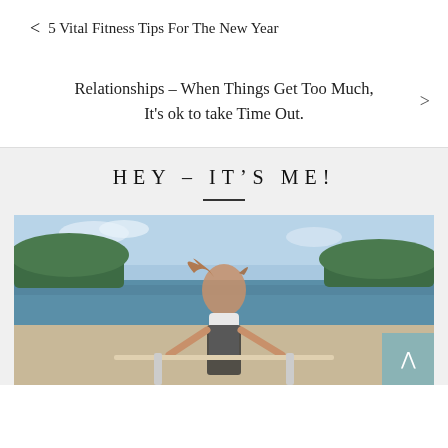< 5 Vital Fitness Tips For The New Year
Relationships – When Things Get Too Much, It's ok to take Time Out. >
HEY – IT'S ME!
[Figure (photo): A woman with long hair blowing in the wind, smiling outdoors near a body of water with trees and sky in the background. She is wearing a white top and dark overalls, leaning on a railing.]